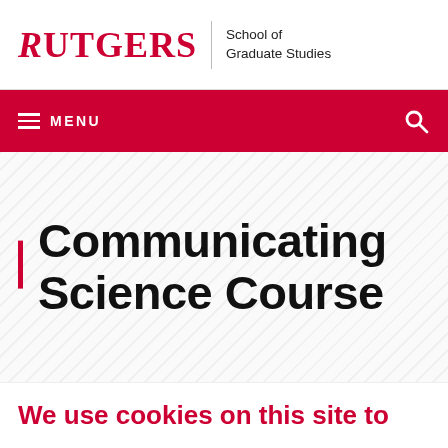RUTGERS | School of Graduate Studies
[Figure (screenshot): Red navigation menu bar with hamburger menu icon, MENU text, and search icon]
Communicating Science Course
We use cookies on this site to